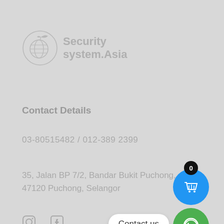[Figure (logo): Security system.Asia logo with globe and bird icon in light gray]
Contact Details
03-80515482 / 012-389 2399
35, Jalan BP 7/2, Bandar Bukit Puchong, 47120 Puchong, Selangor
[Figure (other): Instagram and Facebook social media icons]
[Figure (other): Blue shopping cart button with badge showing 0]
[Figure (other): WhatsApp contact us button with green icon]
[Figure (other): Scroll to top button with upward arrow]
Quick Links